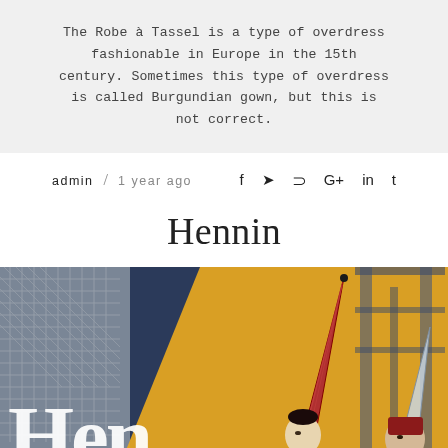The Robe à Tassel is a type of overdress fashionable in Europe in the 15th century. Sometimes this type of overdress is called Burgundian gown, but this is not correct.
admin / 1 year ago
Hennin
[Figure (illustration): Medieval painting showing women wearing hennin (tall conical headdresses). A golden diagonal overlay with Gothic blackletter text 'Hen' visible at bottom left. Two figures wearing hennins are visible against an architectural background with lattice windows.]